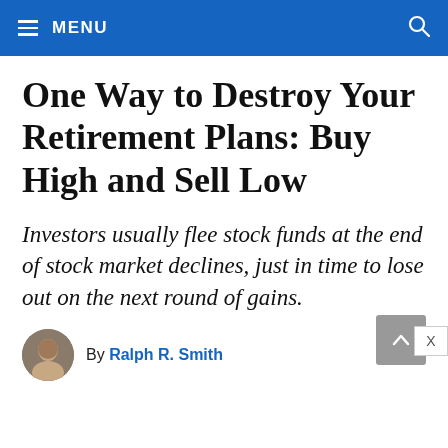MENU
One Way to Destroy Your Retirement Plans: Buy High and Sell Low
Investors usually flee stock funds at the end of stock market declines, just in time to lose out on the next round of gains.
By Ralph R. Smith